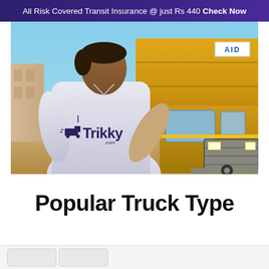All Risk Covered Transit Insurance @ just Rs 440 Check Now
[Figure (photo): A person wearing a light grey shirt with Trikky.com logo on the back, standing in front of a yellow cargo truck. The scene is outdoors with a blue sky background. The truck has an 'AID' sign visible on its side.]
Popular Truck Type